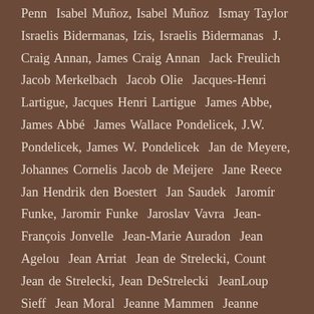Penn  Isabel Muñoz, Isabel Muñoz  Ismay Taylor  Israelis Bidermanas, Izis, Israelis Bidermanas  J. Craig Annan, James Craig Annan  Jack Freulich  Jacob Merkelbach  Jacob Olie  Jacques-Henri Lartigue, Jacques Henri Lartigue  James Abbe, James Abbé  James Wallace Pondelicek, J.W. Pondelicek, James W. Pondelicek  Jan de Meyere, Johannes Cornelis Jacob de Meijere  Jane Reece  Jan Hendrik den Boestert  Jan Saudek  Jaromír Funke, Jaromir Funke  Jaroslav Vavra  Jean-François Jonvelle  Jean-Marie Auradon  Jean Agelou  Jean Arriat  Jean de Strelecki, Count Jean de Strelecki, Jean DeStrelecki  JeanLoup Sieff  Jean Moral  Jeanne Mammen  Jeanne Mandello  Jean Philippe Charbonier  Jeker Werner  Jerry Uelsmann  Jindřich Vaněk, Jindrich Vanek  Jindřich Štyrský  Joan Fontcuberta  Joaquim da Silva Nogueira  Joaquim Gomis  Joaquim Pla, Joaquim Pla Janini  Jock Sturges  Johan Hagemeyer  John Bulmer  John Simon Warburg, John G. Warburg, John de Mirjian, De